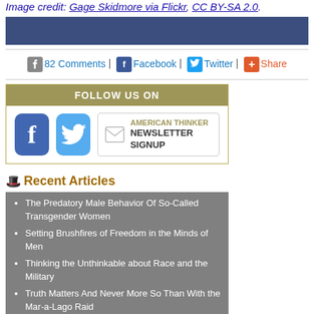Image credit: Gage Skidmore via Flickr, CC BY-SA 2.0.
[Figure (other): Blue banner advertisement area]
82 Comments | Facebook | Twitter | Share
[Figure (infographic): Follow Us On box with Facebook, Twitter, and American Thinker Newsletter Signup icons]
Recent Articles
The Predatory Male Behavior Of So-Called Transgender Women
Setting Brushfires of Freedom in the Minds of Men
Thinking the Unthinkable about Race and the Military
Truth Matters And Never More So Than With the Mar-a-Lago Raid
Good News and Bad News about Our Age of Lies